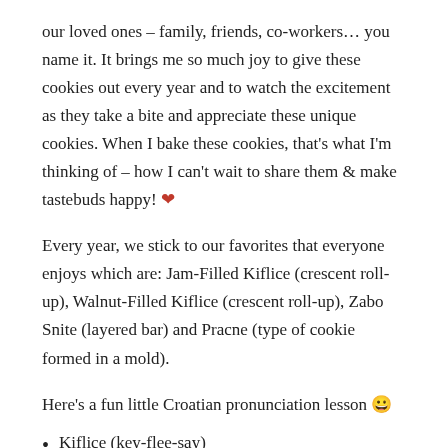our loved ones – family, friends, co-workers… you name it. It brings me so much joy to give these cookies out every year and to watch the excitement as they take a bite and appreciate these unique cookies. When I bake these cookies, that's what I'm thinking of – how I can't wait to share them & make tastebuds happy! ❤
Every year, we stick to our favorites that everyone enjoys which are: Jam-Filled Kiflice (crescent roll-up), Walnut-Filled Kiflice (crescent roll-up), Zabo Snite (layered bar) and Pracne (type of cookie formed in a mold).
Here's a fun little Croatian pronunciation lesson 🙂
Kiflice (key-flee-say)